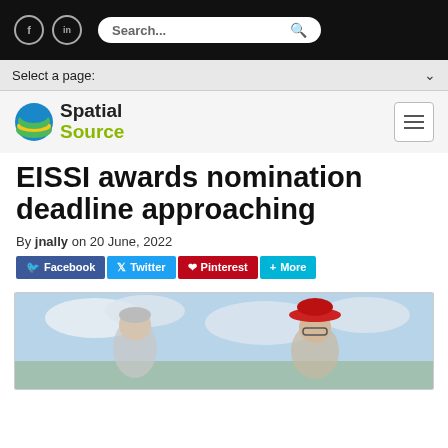Spatial Source - website header with Facebook, LinkedIn, Search bar
Select a page:
[Figure (logo): Spatial Source logo with globe icon showing blue, green and yellow layers]
EISSI awards nomination deadline approaching
By jnally on 20 June, 2022
Facebook  Twitter  Pinterest  More
[Figure (photo): Two people outdoors, one wearing a red hat, against a cloudy sky background]